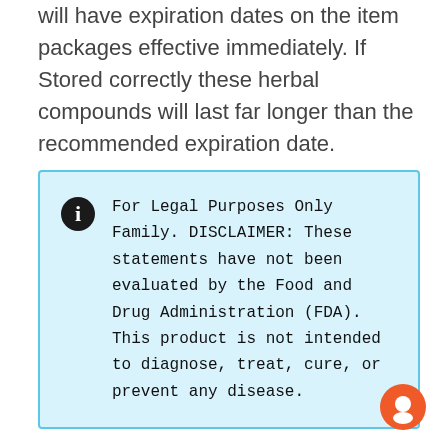will have expiration dates on the item packages effective immediately. If Stored correctly these herbal compounds will last far longer than the recommended expiration date.
For Legal Purposes Only Family. DISCLAIMER: These statements have not been evaluated by the Food and Drug Administration (FDA). This product is not intended to diagnose, treat, cure, or prevent any disease.